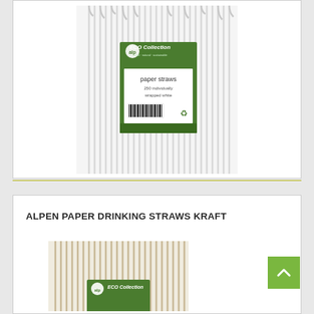[Figure (photo): Product photo of Alpen ECO Collection paper straws - white individually wrapped, 250 count, bundled together standing upright showing the green branded label with barcode]
ALPEN PAPER DRINKING STRAWS KRAFT
[Figure (photo): Partial product photo of Alpen paper drinking straws Kraft variety, showing the bottom of a bundled package with green label visible]